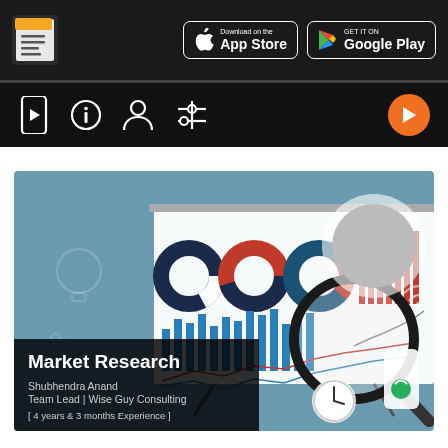[Figure (screenshot): App header bar with document logo icon on the left and App Store and Google Play download buttons on the right, dark background]
[Figure (screenshot): Navigation bar with phone/video icon, info icon, user/profile icon, settings/filter icon on left, and orange play button circle on right, black background]
[Figure (illustration): Course card for Market Research by Shubhendra Anand, Team Lead at Wise Guy Consulting, 4 years and 3 months experience. Blue-grey background with market research illustration showing charts, magnifying glass, pie charts, bar charts, phone, clock, and a profile photo of the instructor.]
Market Research
Shubhendra Anand
Team Lead | Wise Guy Consulting
[ 4 years & 3 months Experience ]